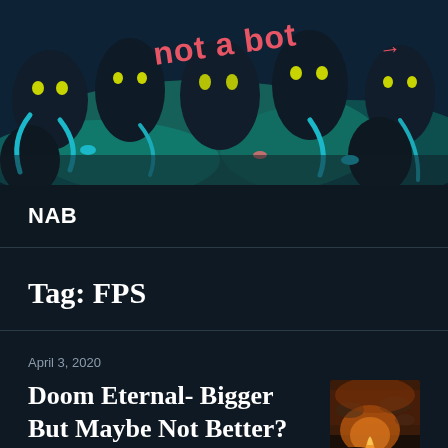[Figure (illustration): Colorful cartoon illustration of dark robotic/alien creatures with teal accents and glowing eyes on a dark navy background, with 'not a bot' text in pink/red lettering]
NAB
Tag: FPS
April 3, 2020
Doom Eternal- Bigger But Maybe Not Better?
[Figure (illustration): Thumbnail image showing a fiery scene with orange/gold tones, appears to be game artwork for Doom Eternal]